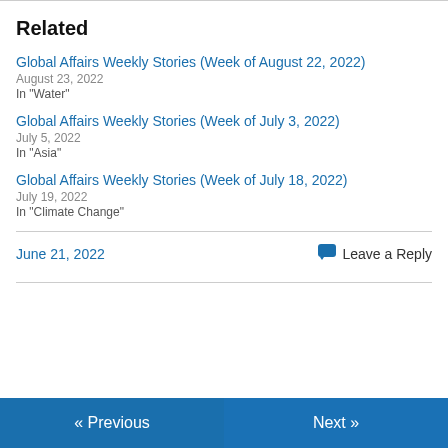Related
Global Affairs Weekly Stories (Week of August 22, 2022)
August 23, 2022
In "Water"
Global Affairs Weekly Stories (Week of July 3, 2022)
July 5, 2022
In "Asia"
Global Affairs Weekly Stories (Week of July 18, 2022)
July 19, 2022
In "Climate Change"
June 21, 2022    Leave a Reply
« Previous    Next »